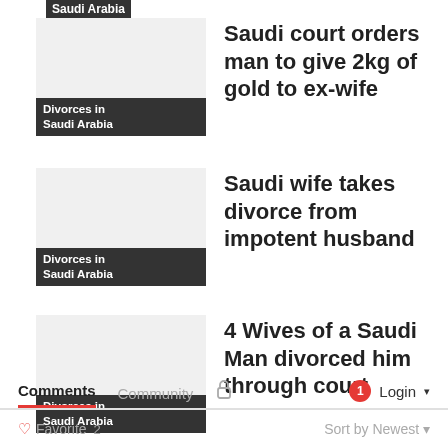Saudi Arabia
Saudi court orders man to give 2kg of gold to ex-wife — Divorces in Saudi Arabia
Saudi wife takes divorce from impotent husband — Divorces in Saudi Arabia
4 Wives of a Saudi Man divorced him through court — Divorces in Saudi Arabia
< >
Comments  Community  🔒  1  Login ▾
♡ Favorite  2  Sort by Newest ▾